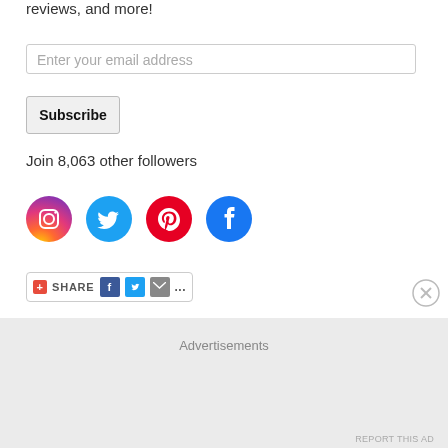reviews, and more!
Enter your email address
Subscribe
Join 8,063 other followers
[Figure (infographic): Row of four social media icons: Instagram (pink/magenta circle), Twitter (blue circle), Pinterest (red circle), Facebook (blue circle)]
[Figure (infographic): Share bar widget with plus icon, SHARE text, Facebook icon, Twitter icon, email icon, and ellipsis]
Advertisements
REPORT THIS AD